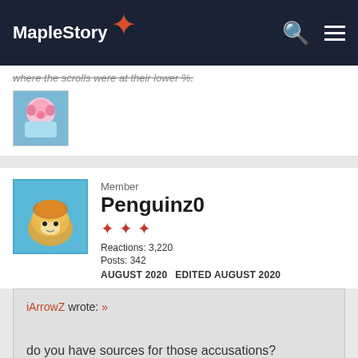MapleStory
where the scrolls were at their lower %.
[Figure (photo): User avatar - anime style character with pink hair and headphones]
Member
Penguinz0
Reactions: 3,220
Posts: 342
AUGUST 2020   EDITED AUGUST 2020
[Figure (photo): User avatar - cute mushroom character (maplestory style)]
iArrowZ wrote: »

do you have sources for those accusations?